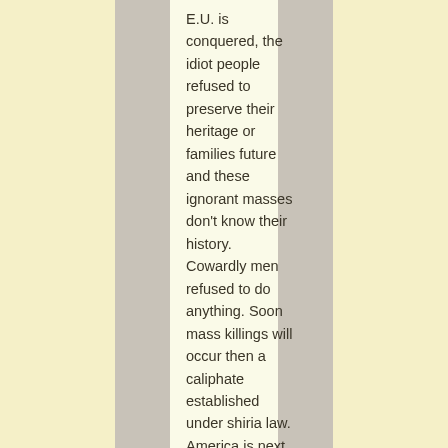E.U. is conquered, the idiot people refused to preserve their heritage or families future and these ignorant masses don't know their history. Cowardly men refused to do anything. Soon mass killings will occur then a caliphate established under shiria law. America is next if not stopped. Hate to see Europe fall, but that's really what they wanted: an Islamic state. The few protesters need to get out of there asap, those that have been outspoken about invaders, before Jihad goes full swing.